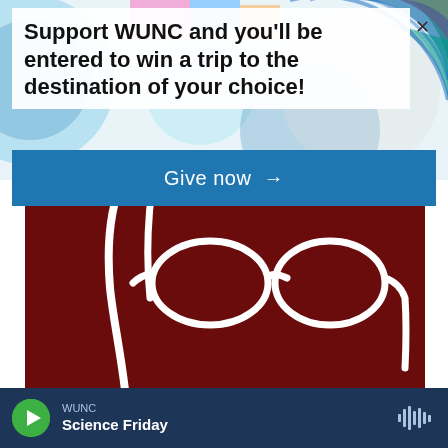[Figure (illustration): Colorful abstract geometric background with circles and rectangles in multiple colors (blue, green, red, yellow, teal)]
Support WUNC and you'll be entered to win a trip to the destination of your choice!
Give now →
[Figure (illustration): Dark maroon background with white illustrated eyeglasses and abstract shapes suggesting a face silhouette — podcast cover art for 'Pauli the Podcast']
Pauli the Podcast
North Carolina Public Radio presents Pauli, a podcast about the power of one person to change
WUNC  Science Friday